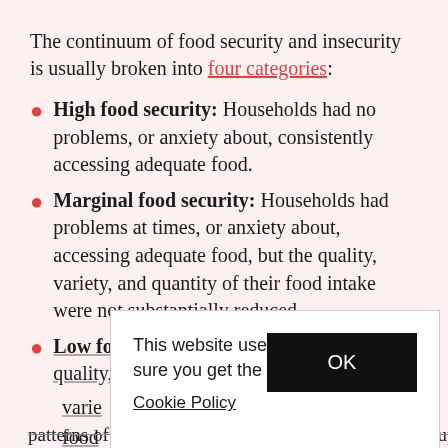The continuum of food security and insecurity is usually broken into four categories:
High food security: Households had no problems, or anxiety about, consistently accessing adequate food.
Marginal food security: Households had problems at times, or anxiety about, accessing adequate food, but the quality, variety, and quantity of their food intake were not substantially reduced.
Low food security: Households reduced the quality, variety, and quantity of their food [intake were not] substantially reduced.
V[ery low food security: ...]
patterns of one or more household members were disrupted
This website uses cookies to make sure you get the best experience.
Cookie Policy